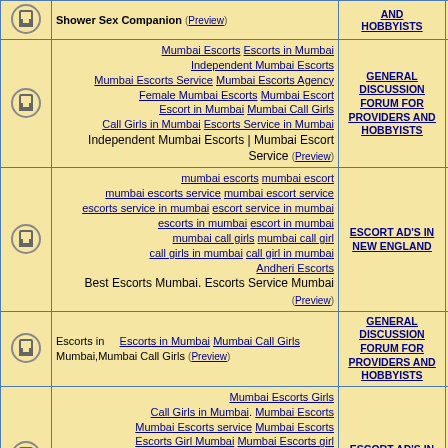| Icon | Content | Forum | Count |
| --- | --- | --- | --- |
| [icon] | Shower Sex Companion (Preview) | AND
HOBBYISTS |  |
| [icon] | Mumbai Escorts Escorts in Mumbai Independent Mumbai Escorts Mumbai Escorts Service Mumbai Escorts Agency Female Mumbai Escorts Mumbai Escort Escort in Mumbai Mumbai Call Girls Call Girls in Mumbai Escorts Service in Mumbai Independent Mumbai Escorts | Mumbai Escort Service (Preview) | GENERAL DISCUSSION FORUM FOR PROVIDERS AND HOBBYISTS | 0 |
| [icon] | mumbai escorts mumbai escort mumbai escorts service mumbai escort service escorts service in mumbai escort service in mumbai escorts in mumbai escort in mumbai mumbai call girls mumbai call girl call girls in mumbai call girl in mumbai Andheri Escorts Best Escorts Mumbai. Escorts Service Mumbai (Preview) | ESCORT AD'S IN NEW ENGLAND | 0 |
| [icon] | Escorts in Escorts in Mumbai Mumbai Call Girls Mumbai,Mumbai Call Girls (Preview) | GENERAL DISCUSSION FORUM FOR PROVIDERS AND HOBBYISTS | 0 |
| [icon] | Mumbai Escorts Girls Call Girls in Mumbai. Mumbai Escorts Mumbai Escorts service Mumbai Escorts Escorts Girl Mumbai Mumbai Escorts girl Mumbai Escorts Services Escort Services Mumbai. Mumbai escorts escorts in Mumbai Mumbai escorts services call girl in Mumbai Mumbai call girls Mumbai escorts girls Mumbai independent escorts | ESCORT AD'S IN NEW ENGLAND | 0 |